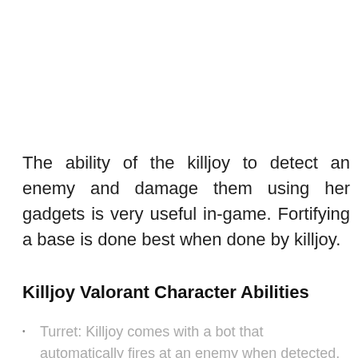The ability of the killjoy to detect an enemy and damage them using her gadgets is very useful in-game. Fortifying a base is done best when done by killjoy.
Killjoy Valorant Character Abilities
Turret: Killjoy comes with a bot that automatically fires at an enemy when detected.